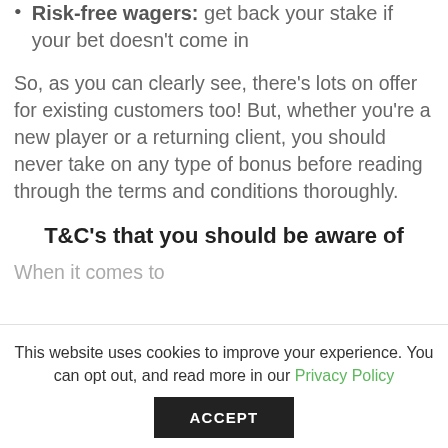Risk-free wagers: get back your stake if your bet doesn't come in
So, as you can clearly see, there's lots on offer for existing customers too! But, whether you're a new player or a returning client, you should never take on any type of bonus before reading through the terms and conditions thoroughly.
T&C's that you should be aware of
When it comes to
This website uses cookies to improve your experience. You can opt out, and read more in our Privacy Policy
ACCEPT